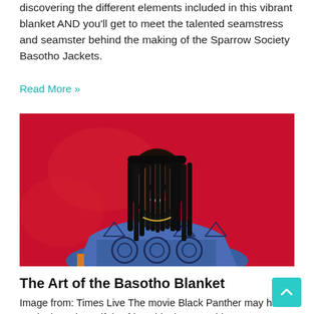discovering the different elements included in this vibrant blanket AND you'll get to meet the talented seamstress and seamster behind the making of the Sparrow Society Basotho Jackets.
Read More »
[Figure (photo): A smiling woman with long black braids wearing a blue patterned Basotho blanket/jacket, photographed against a bright red background.]
The Art of the Basotho Blanket
Image from: Times Live The movie Black Panther may have made these beautiful "African blankets" world-